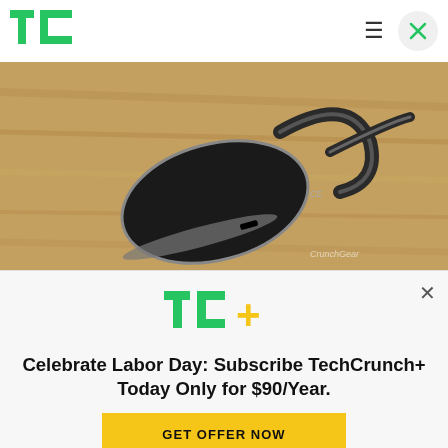TechCrunch — navigation header with TC logo, hamburger menu, and close button
[Figure (photo): A black Bluetooth earpiece/headset with ear hook lying on a wooden surface. Watermark reads CrunchGear in lower right.]
There's a small market for Bluetooth headsets that
[Figure (infographic): TechCrunch+ subscription modal overlay with TC+ logo, headline 'Celebrate Labor Day: Subscribe TechCrunch+ Today Only for $90/Year.' and a yellow GET OFFER NOW button]
Celebrate Labor Day: Subscribe TechCrunch+ Today Only for $90/Year.